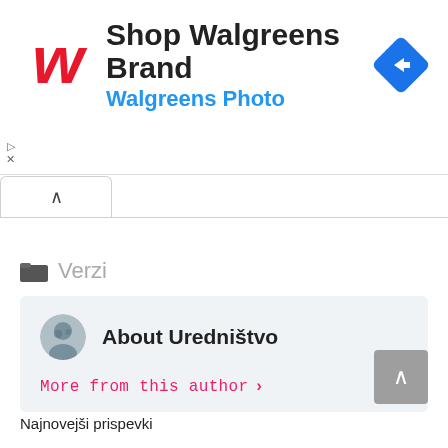[Figure (screenshot): Walgreens advertisement banner with red cursive W logo, text 'Shop Walgreens Brand' and 'Walgreens Photo' in blue, and a blue diamond navigation arrow icon on the right]
[Figure (screenshot): Collapse/accordion tab button with upward caret symbol]
Verzi
[Figure (screenshot): Author card with avatar photo and text 'About Uredništvo' and 'More from this author >' link in pink]
[Figure (screenshot): Back to top button - gray square with upward chevron arrow]
Najnovejši prispevki